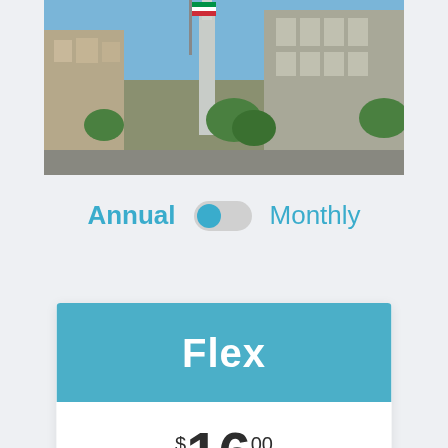[Figure (photo): Street-level photo of an urban cityscape with buildings, a tall modern tower in the background, trees, and a flag visible. Blue sky overhead.]
Annual   Monthly
Flex
$16.00 user/month
Unlimited Local